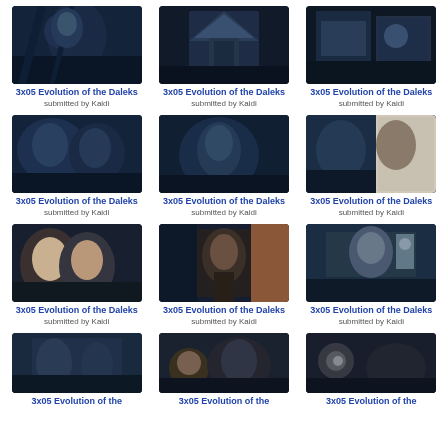[Figure (photo): TV show screenshot - 3x05 Evolution of the Daleks, dark scene with character looking up]
3x05 Evolution of the Daleks
submitted by Kaidi
[Figure (photo): TV show screenshot - 3x05 Evolution of the Daleks, building exterior at night]
3x05 Evolution of the Daleks
submitted by Kaidi
[Figure (photo): TV show screenshot - 3x05 Evolution of the Daleks, dark indoor scene]
3x05 Evolution of the Daleks
submitted by Kaidi
[Figure (photo): TV show screenshot - 3x05 Evolution of the Daleks, group of people in dark setting]
3x05 Evolution of the Daleks
submitted by Kaidi
[Figure (photo): TV show screenshot - 3x05 Evolution of the Daleks, dark corridor scene]
3x05 Evolution of the Daleks
submitted by Kaidi
[Figure (photo): TV show screenshot - 3x05 Evolution of the Daleks, man standing in room]
3x05 Evolution of the Daleks
submitted by Kaidi
[Figure (photo): TV show screenshot - 3x05 Evolution of the Daleks, blonde woman and man]
3x05 Evolution of the Daleks
submitted by Kaidi
[Figure (photo): TV show screenshot - 3x05 Evolution of the Daleks, two people in corridor]
3x05 Evolution of the Daleks
submitted by Kaidi
[Figure (photo): TV show screenshot - 3x05 Evolution of the Daleks, person in hat with equipment]
3x05 Evolution of the Daleks
submitted by Kaidi
[Figure (photo): TV show screenshot - 3x05 Evolution of the Daleks, two people in lit corridor]
3x05 Evolution of the
(partial)
[Figure (photo): TV show screenshot - 3x05 Evolution of the Daleks, man and woman in corridor]
3x05 Evolution of the
(partial)
[Figure (photo): TV show screenshot - 3x05 Evolution of the Daleks, person near circular device]
3x05 Evolution of the
(partial)